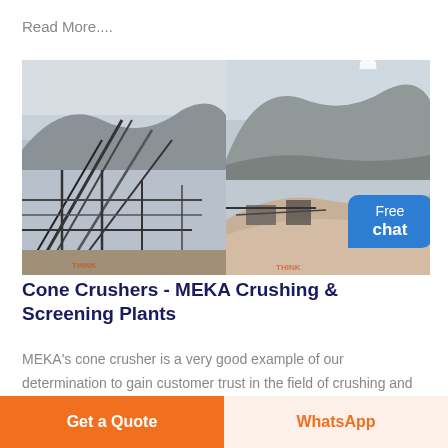Read More....
[Figure (photo): Two side-by-side photos of industrial crushing and screening plant facilities. Left photo shows conveyor belts and steel framework structures. Right photo shows a rocky hillside quarry with industrial equipment and rock piles. Both images have watermarks reading 'THINK'. A blue 'Free chat' speech bubble appears in the top-right corner with a person icon above it.]
Cone Crushers - MEKA Crushing & Screening Plants
MEKA's cone crusher is a very good example of our determination to gain customer trust in the field of crushing and screening equipment. The solid structure
Get a Quote
WhatsApp